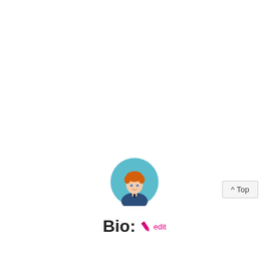[Figure (illustration): Circular avatar icon showing a cartoon male figure with orange/red hair, wearing a dark suit and tie, against a teal/blue circular background.]
Bio:  edit
^ Top